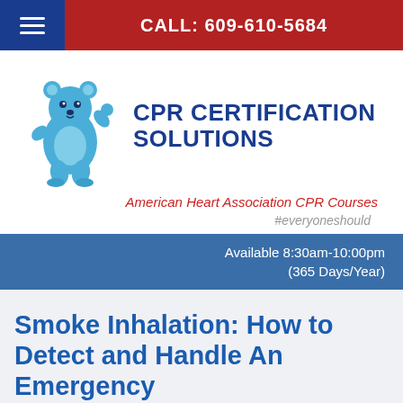CALL: 609-610-5684
[Figure (logo): CPR Certification Solutions logo with a blue cartoon bear mascot waving, and the text CPR CERTIFICATION SOLUTIONS in dark blue bold]
American Heart Association CPR Courses
#everyoneshould
Available 8:30am-10:00pm (365 Days/Year)
Smoke Inhalation: How to Detect and Handle An Emergency